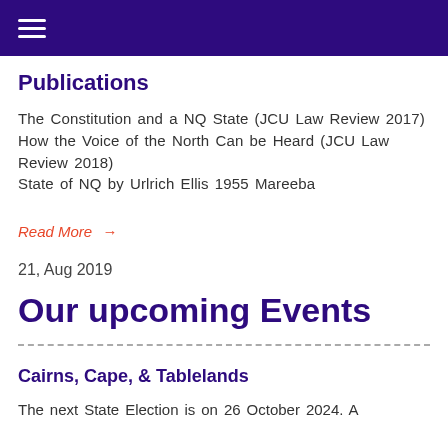☰
Publications
The Constitution and a NQ State (JCU Law Review 2017)
How the Voice of the North Can be Heard (JCU Law Review 2018)
State of NQ by Urlrich Ellis 1955 Mareeba
Read More →
21, Aug 2019
Our upcoming Events
Cairns, Cape, & Tablelands
The next State Election is on 26 October 2024. A